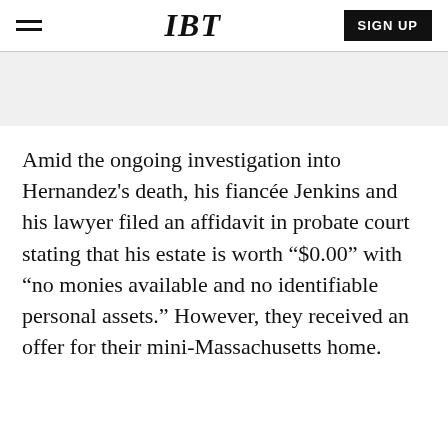IBT | SIGN UP
Amid the ongoing investigation into Hernandez's death, his fiancée Jenkins and his lawyer filed an affidavit in probate court stating that his estate is worth “$0.00” with “no monies available and no identifiable personal assets.” However, they received an offer for their mini-Massachusetts home.